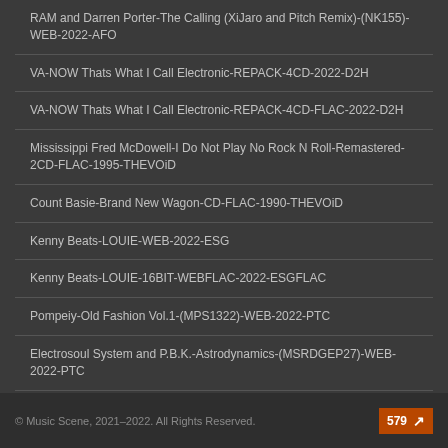RAM and Darren Porter-The Calling (XiJaro and Pitch Remix)-(NK155)-WEB-2022-AFO
VA-NOW Thats What I Call Electronic-REPACK-4CD-2022-D2H
VA-NOW Thats What I Call Electronic-REPACK-4CD-FLAC-2022-D2H
Mississippi Fred McDowell-I Do Not Play No Rock N Roll-Remastered-2CD-FLAC-1995-THEVOiD
Count Basie-Brand New Wagon-CD-FLAC-1990-THEVOiD
Kenny Beats-LOUIE-WEB-2022-ESG
Kenny Beats-LOUIE-16BIT-WEBFLAC-2022-ESGFLAC
Pompeiy-Old Fashion Vol.1-(MPS1322)-WEB-2022-PTC
Electrosoul System and P.B.K.-Astrodynamics-(MSRDGEP27)-WEB-2022-PTC
© Music Scene, 2021–2022. All Rights Reserved.